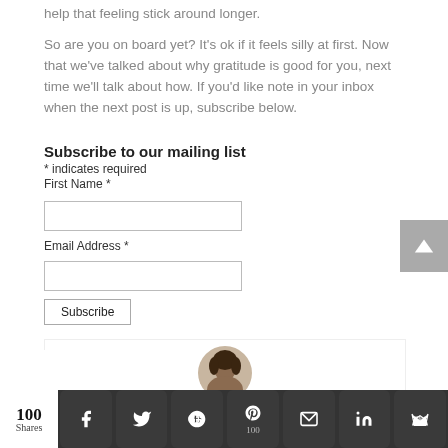help that feeling stick around longer.
So are you on board yet? It's ok if it feels silly at first. Now that we've talked about why gratitude is good for you, next time we'll talk about how. If you'd like note in your inbox when the next post is up, subscribe below.
Subscribe to our mailing list
* indicates required
First Name *
Email Address *
[Figure (photo): Circular author photo of a woman with dark hair]
100 Shares